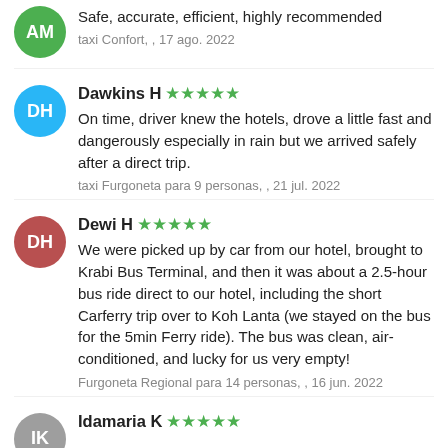Safe, accurate, efficient, highly recommended
taxi Confort, , 17 ago. 2022
Dawkins H ★★★★★
On time, driver knew the hotels, drove a little fast and dangerously especially in rain but we arrived safely after a direct trip.
taxi Furgoneta para 9 personas, , 21 jul. 2022
Dewi H ★★★★★
We were picked up by car from our hotel, brought to Krabi Bus Terminal, and then it was about a 2.5-hour bus ride direct to our hotel, including the short Carferry trip over to Koh Lanta (we stayed on the bus for the 5min Ferry ride). The bus was clean, air-conditioned, and lucky for us very empty!
Furgoneta Regional para 14 personas, , 16 jun. 2022
Idamaria K ★★★★★